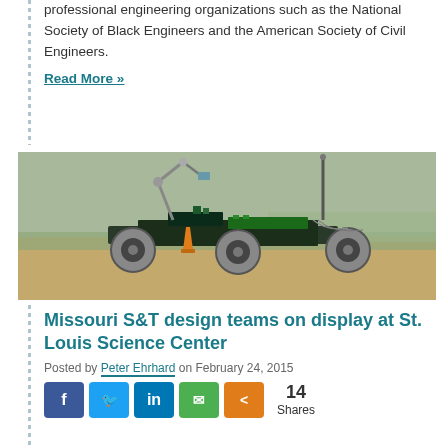professional engineering organizations such as the National Society of Black Engineers and the American Society of Civil Engineers.
Read More »
[Figure (photo): A robotic rover with four large wheels and a mechanical arm, photographed outdoors on a sandy/grassy field.]
Missouri S&T design teams on display at St. Louis Science Center
Posted by Peter Ehrhard on February 24, 2015
Social share buttons: Facebook, Twitter, LinkedIn, Email, Share. 14 Shares.